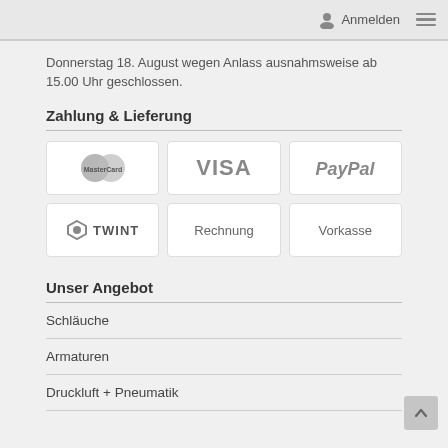Anmelden
Donnerstag 18. August wegen Anlass ausnahmsweise ab 15.00 Uhr geschlossen.
Zahlung & Lieferung
[Figure (logo): Payment method logos: MasterCard, VISA, PayPal, TWINT, Rechnung, Vorkasse]
Unser Angebot
Schläuche
Armaturen
Druckluft + Pneumatik